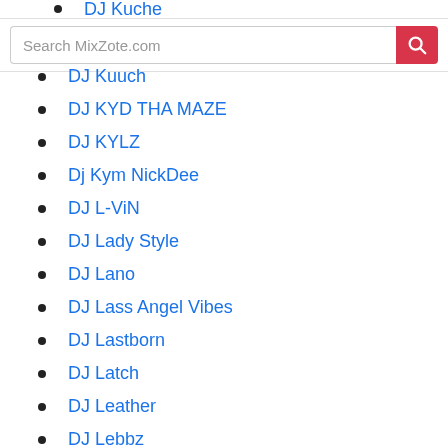DJ Kuche (partial, cut off at top)
[Figure (screenshot): Search bar with placeholder text 'Search MixZote.com' and a red search button with magnifying glass icon]
DJ Kuuch
DJ KYD THA MAZE
DJ KYLZ
Dj Kym NickDee
DJ L-ViN
DJ Lady Style
DJ Lano
DJ Lass Angel Vibes
DJ Lastborn
DJ Latch
DJ Leather
DJ Lebbz
DJ Lekz
DJ Lenium (partial, cut off at bottom)